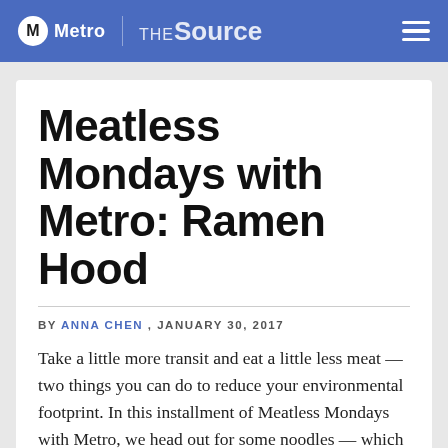Metro THE Source
Meatless Mondays with Metro: Ramen Hood
BY ANNA CHEN , JANUARY 30, 2017
Take a little more transit and eat a little less meat — two things you can do to reduce your environmental footprint. In this installment of Meatless Mondays with Metro, we head out for some noodles — which also happens to be a food traditionally eaten during the Chinese New Year celebrations taking place right now. Noodles symbolize the wish for longevity, and while most